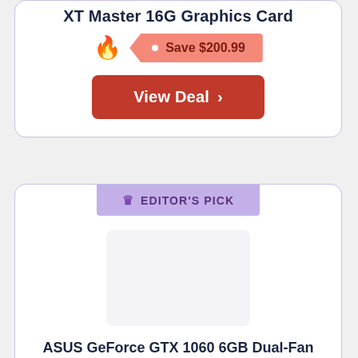XT Master 16G Graphics Card
Save $200.99
View Deal
EDITOR'S PICK
ASUS GeForce GTX 1060 6GB Dual-Fan OC Edition (Renewed)
Save $85